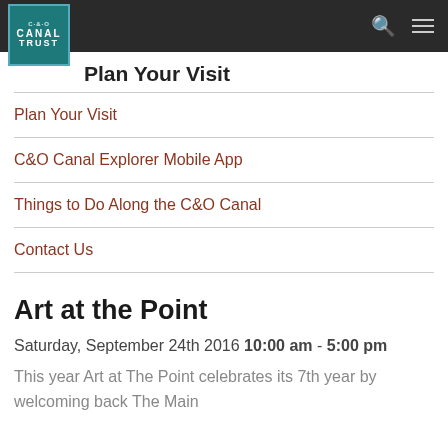Canal Trust logo and navigation bar
Plan Your Visit
Plan Your Visit
C&O Canal Explorer Mobile App
Things to Do Along the C&O Canal
Contact Us
Art at the Point
Saturday, September 24th 2016 10:00 am - 5:00 pm
This year Art at The Point celebrates its 7th year by welcoming back The Main